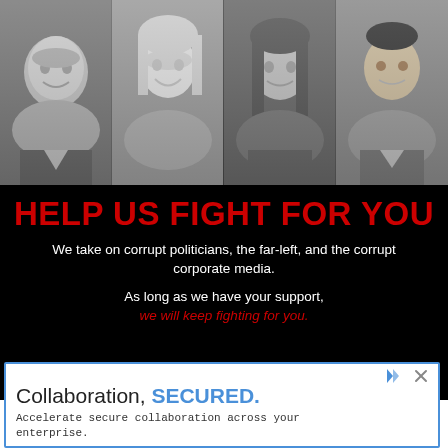[Figure (photo): Four headshots in black and white: man with beard smiling, young blonde woman smiling, young brunette woman, Asian man — arranged side by side across the top of the page.]
HELP US FIGHT FOR YOU
We take on corrupt politicians, the far-left, and the corrupt corporate media.
As long as we have your support, we will keep fighting for you.
[Figure (infographic): Bottom bar with white chevron dropdown box and red horizontal button bar on black background, partially obscured by advertisement overlay.]
Collaboration, SECURED. Accelerate secure collaboration across your enterprise.